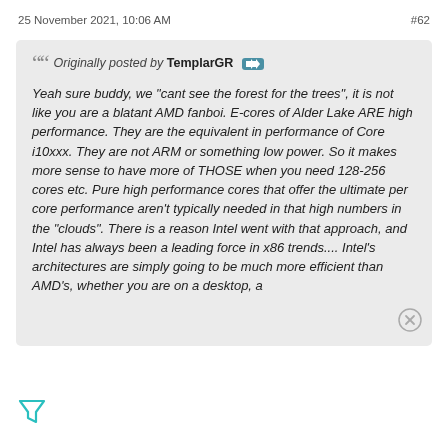25 November 2021, 10:06 AM   #62
Originally posted by TemplarGR
Yeah sure buddy, we "cant see the forest for the trees", it is not like you are a blatant AMD fanboi. E-cores of Alder Lake ARE high performance. They are the equivalent in performance of Core i10xxx. They are not ARM or something low power. So it makes more sense to have more of THOSE when you need 128-256 cores etc. Pure high performance cores that offer the ultimate per core performance aren’t typically needed in that high numbers in the "clouds". There is a reason Intel went with that approach, and Intel has always been a leading force in x86 trends.... Intel’s architectures are simply going to be much more efficient than AMD’s, whether you are on a desktop, a